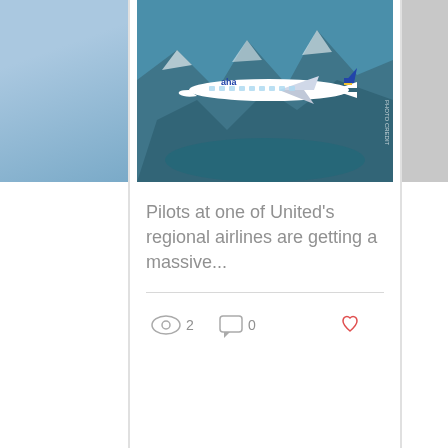[Figure (photo): Partial view of a blog article card on the left — blue sky background, clipped at right edge]
[Figure (photo): Center blog card showing an aha! airline aircraft flying over mountainous terrain with water below. Aircraft is white with blue 'aha' branding.]
Pilots at one of United's regional airlines are getting a massive...
[Figure (infographic): Eye/views icon with count 2, speech bubble/comment icon with count 0, and heart/like icon (salmon/coral color) — social engagement bar]
[Figure (photo): Partial view of a third blog article card on the right — dark silhouette shape, clipped at left edge]
[Figure (infographic): Carousel navigation dots: three dots, first is teal/blue (active), second and third are light gray (inactive)]
[Figure (infographic): Dark blue footer section containing Facebook and Twitter social media icons (black circles with white logos), and a back-to-top button (upward chevron arrow in a box) on the right side]